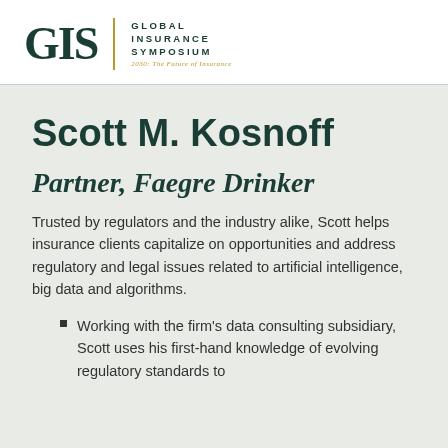[Figure (logo): GIS Global Insurance Symposium logo with gold divider line and tagline '2030: The Future of Insurance']
Scott M. Kosnoff
Partner, Faegre Drinker
Trusted by regulators and the industry alike, Scott helps insurance clients capitalize on opportunities and address regulatory and legal issues related to artificial intelligence, big data and algorithms.
Working with the firm’s data consulting subsidiary, Scott uses his first-hand knowledge of evolving regulatory standards to